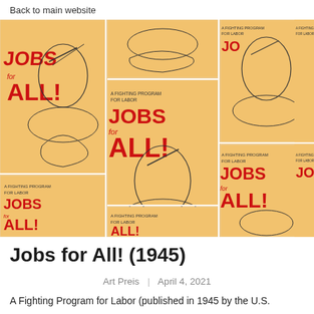Back to main website
[Figure (illustration): A grid of repeated vintage poster images showing 'JOBS for ALL! A Fighting Program for Labor' with red bold lettering on an orange/tan background, featuring a drawing of a fist clutching tools rising from rubble]
Jobs for All! (1945)
Art Preis  |  April 4, 2021
A Fighting Program for Labor (published in 1945 by the U.S.